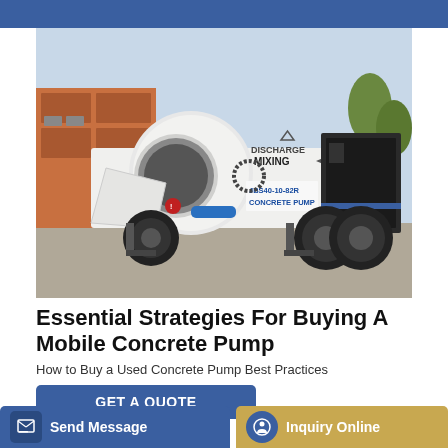[Figure (photo): A white mobile concrete pump (JBS40-10-82R) mounted on a trailer with mixing drum labeled DISCHARGE MIXING, photographed outdoors]
Essential Strategies For Buying A Mobile Concrete Pump
How to Buy a Used Concrete Pump Best Practices
GET A QUOTE
Send Message
Inquiry Online